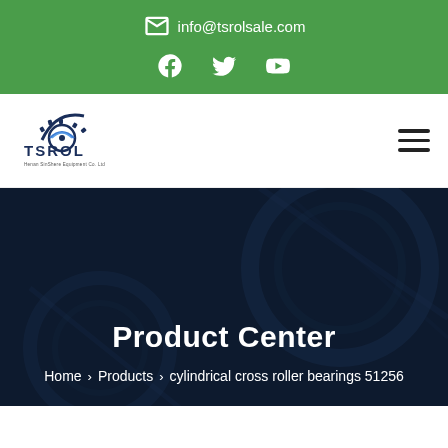✉ info@tsrolsale.com
[Figure (logo): TSROL company logo with gear icon and text 'Henan SinShere Equipment Co. Ltd']
Product Center
Home > Products > cylindrical cross roller bearings 51256